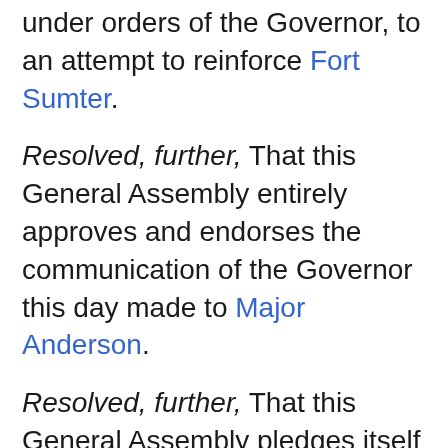under orders of the Governor, to an attempt to reinforce Fort Sumter.
Resolved, further, That this General Assembly entirely approves and endorses the communication of the Governor this day made to Major Anderson.
Resolved, further, That this General Assembly pledges itself to an earnest, vigorous, and unhesitating support of the Governor in every measure adopted by him in defence of the honor and safety of the State.
Arrest for treason.
The Charleston Mercury, of Thursday, says: